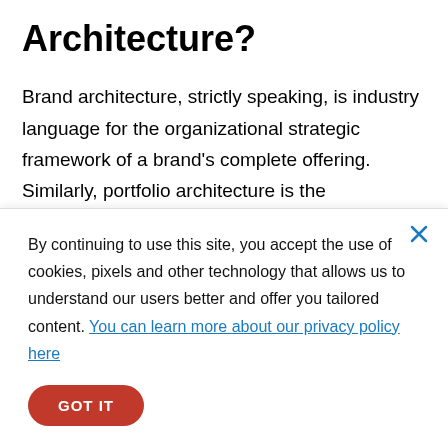Architecture?
Brand architecture, strictly speaking, is industry language for the organizational strategic framework of a brand's complete offering. Similarly, portfolio architecture is the organizational framework of a company's portfolio
By continuing to use this site, you accept the use of cookies, pixels and other technology that allows us to understand our users better and offer you tailored content. You can learn more about our privacy policy here
GOT IT